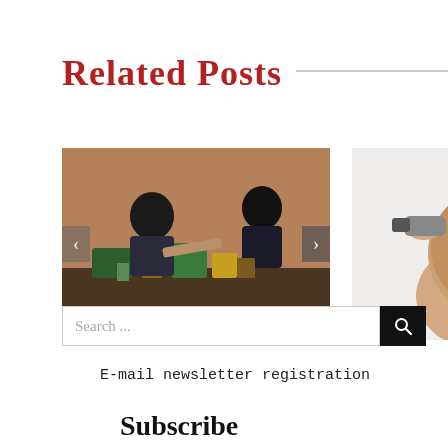Related Posts
[Figure (photo): Two people at a table with gaming or craft items, indoor scene with warm brown background]
[Figure (photo): Person from behind getting their head shaved/cut with clippers, holding a green bottle]
Search ...
E-mail newsletter registration
Subscribe